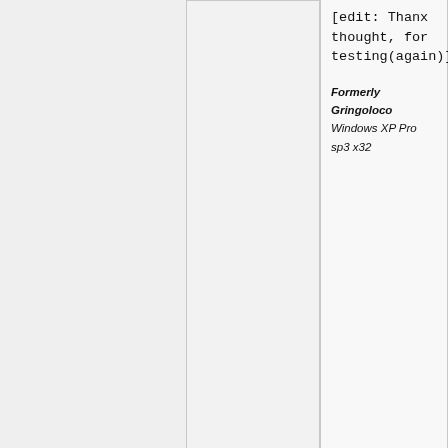[edit: Thanx thought, for testing(again)]
Formerly Gringoloco
Windows XP Pro sp3 x32
Top
Log in or register to post comments
May 16, 2010 - 12:40pm  (Reply to #59)  #60
Simeon
ok
Sorry about that